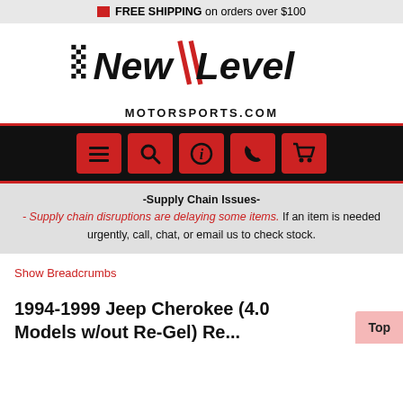FREE SHIPPING on orders over $100
[Figure (logo): NewLevel Motorsports.com logo with checkered flag and red slash marks]
[Figure (infographic): Navigation bar with five red icon buttons: menu, search, info, phone, cart]
-Supply Chain Issues- Supply chain disruptions are delaying some items. If an item is needed urgently, call, chat, or email us to check stock.
Show Breadcrumbs
1994-1999 Jeep Cherokee (4.0 Models w/out Re-Gel) Renegade Armor Seat Hooks